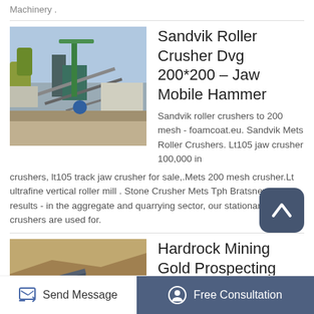Machinery .
[Figure (photo): Aerial view of a mining/crushing plant with green machinery and conveyors]
Sandvik Roller Crusher Dvg 200*200 – Jaw Mobile Hammer
Sandvik roller crushers to 200 mesh - foamcoat.eu. Sandvik Mets Roller Crushers. Lt105 jaw crusher 100,000 in crushers, lt105 track jaw crusher for sale,.Mets 200 mesh crusher.Lt ultrafine vertical roller mill . Stone Crusher Mets Tph Bratsnewjerse results - in the aggregate and quarrying sector, our stationary vsi crushers are used for.
[Figure (photo): Open pit mining operation with conveyor belts on hillside]
Hardrock Mining Gold Prospecting Nugget Shooter
Send Message
Free Consultation